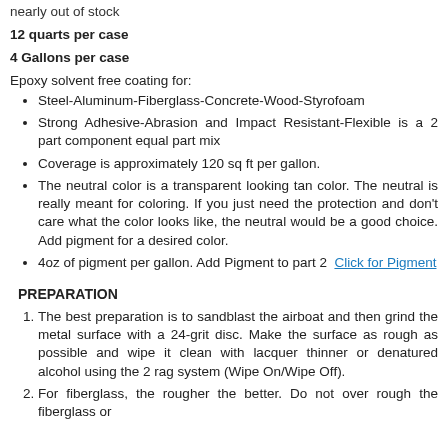nearly out of stock
12 quarts per case
4 Gallons per case
Epoxy solvent free coating for:
Steel-Aluminum-Fiberglass-Concrete-Wood-Styrofoam
Strong Adhesive-Abrasion and Impact Resistant-Flexible is a 2 part component equal part mix
Coverage is approximately 120 sq ft per gallon.
The neutral color is a transparent looking tan color. The neutral is really meant for coloring. If you just need the protection and don't care what the color looks like, the neutral would be a good choice. Add pigment for a desired color.
4oz of pigment per gallon. Add Pigment to part 2  Click for Pigment
PREPARATION
The best preparation is to sandblast the airboat and then grind the metal surface with a 24-grit disc. Make the surface as rough as possible and wipe it clean with lacquer thinner or denatured alcohol using the 2 rag system (Wipe On/Wipe Off).
For fiberglass, the rougher the better. Do not over rough the fiberglass or